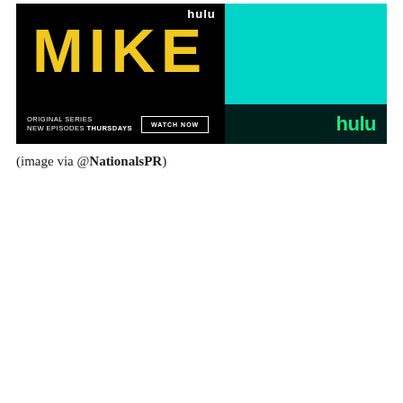[Figure (illustration): Hulu advertisement for the original series 'MIKE'. Large yellow bold text 'MIKE' on a dark background with a teal right side. Top shows 'hulu' in white. Bottom bar shows 'ORIGINAL SERIES NEW EPISODES THURSDAYS', a 'WATCH NOW' button, and the Hulu logo in green.]
(image via @NationalsPR)